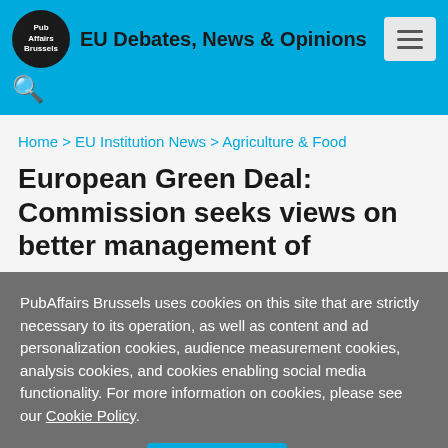EU Debates, News & Opinions
Home > EU Institution News > Agriculture & Food
European Green Deal: Commission seeks views on better management of
PubAffairs Brussels uses cookies on this site that are strictly necessary to its operation, as well as content and ad personalization cookies, audience measurement cookies, analysis cookies, and cookies enabling social media functionality. For more information on cookies, please see our Cookie Policy.
Cookie settings   ACCEPT